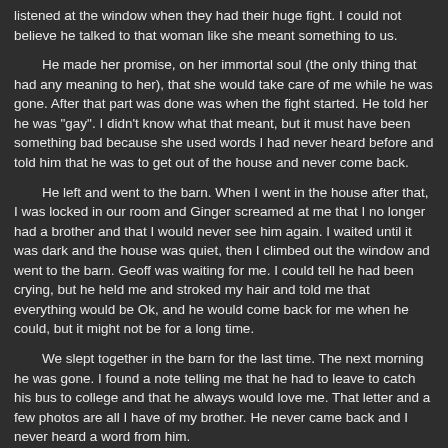listened at the window when they had their huge fight. I could not believe he talked to that woman like she meant something to us.
He made her promise, on her immortal soul (the only thing that had any meaning to her), that she would take care of me while he was gone. After that part was done was when the fight started. He told her he was "gay". I didn't know what that meant, but it must have been something bad because she used words I had never heard before and told him that he was to get out of the house and never come back.
He left and went to the barn. When I went in the house after that, I was locked in our room and Ginger screamed at me that I no longer had a brother and that I would never see him again. I waited until it was dark and the house was quiet, then I climbed out the window and went to the barn. Geoff was waiting for me. I could tell he had been crying, but he held me and stroked my hair and told me that everything would be Ok, and he would come back for me when he could, but it might not be for a long time.
We slept together in the barn for the last time. The next morning he was gone. I found a note telling me that he had to leave to catch his bus to college and that he always would love me. That letter and a few photos are all I have of my brother. He never came back and I never heard a word from him.
Now I had finally escaped from my own slavery and got a scholarship to the same University where Geoff had attended. I had to work for nearly a year to be able to afford to live, as well as attend classes. I've been through all the records that I could find, from when he went to school here, and found nothing after the spring of his second year. He had been a good student and had a job in the campus bookstore.
He was an avid runner and didn't seem to have allot of friends. That was all I could find out from the school's records and people that remembered him. There were actually still a couple of his professors that remembered him fondly and